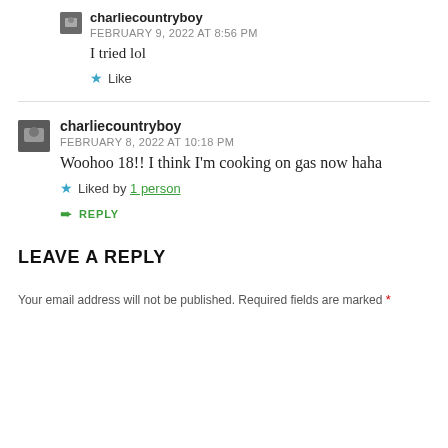charliecountryboy
FEBRUARY 9, 2022 AT 8:56 PM
I tried lol
Like
charliecountryboy
FEBRUARY 8, 2022 AT 10:18 PM
Woohoo 18!! I think I'm cooking on gas now haha
Liked by 1 person
REPLY
LEAVE A REPLY
Your email address will not be published. Required fields are marked *